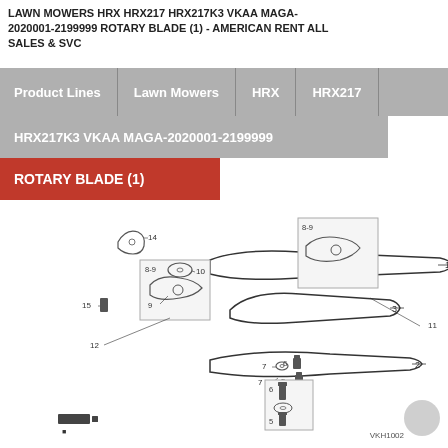LAWN MOWERS HRX HRX217 HRX217K3 VKAA MAGA-2020001-2199999 ROTARY BLADE (1) - AMERICAN RENT ALL SALES & SVC
Product Lines | Lawn Mowers | HRX | HRX217
HRX217K3 VKAA MAGA-2020001-2199999
ROTARY BLADE (1)
[Figure (engineering-diagram): Exploded parts diagram of Honda HRX217 rotary blade assembly showing numbered parts including blades (1, 2, 3), bolts (5, 6, 7), washer (8-9), disc (10), blade holder (11, 12), and small components (14, 15) with detail insets of blade mounting hardware and a scissor-like blade mechanism. Honda watermark visible in background.]